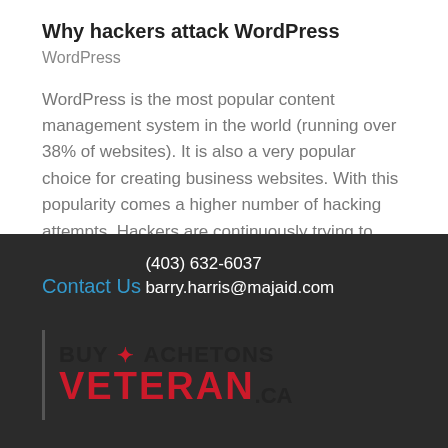Why hackers attack WordPress
WordPress
WordPress is the most popular content management system in the world (running over 38% of websites). It is also a very popular choice for creating business websites. With this popularity comes a higher number of hacking attempts. Hackers are continuously trying to...
Contact Us
(403) 632-6037
barry.harris@majaid.com
[Figure (logo): Buy Achetons Veteran.ca logo with a vertical bar separator, red maple leaf, and VETERAN in large red bold text]